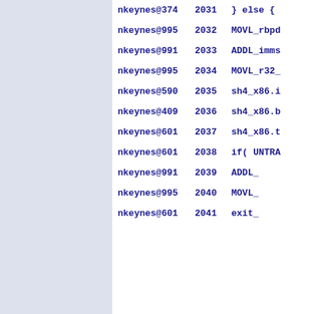nkeynes@374 2031 } else {
nkeynes@995 2032 MOVL_rbpd
nkeynes@991 2033 ADDL_imms
nkeynes@995 2034 MOVL_r32_
nkeynes@590 2035 sh4_x86.i
nkeynes@409 2036 sh4_x86.b
nkeynes@601 2037 sh4_x86.t
nkeynes@601 2038 if( UNTRA
nkeynes@991 2039 ADDL_
nkeynes@995 2040 MOVL_
nkeynes@601 2041 exit_